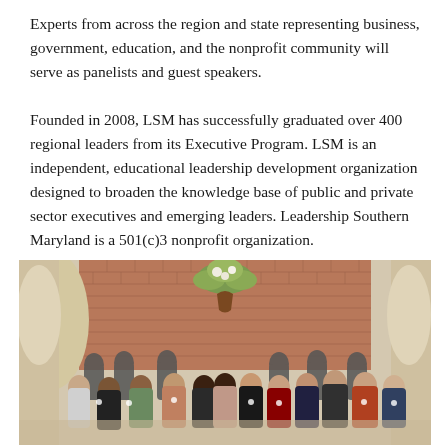Experts from across the region and state representing business, government, education, and the nonprofit community will serve as panelists and guest speakers.
Founded in 2008, LSM has successfully graduated over 400 regional leaders from its Executive Program. LSM is an independent, educational leadership development organization designed to broaden the knowledge base of public and private sector executives and emerging leaders. Leadership Southern Maryland is a 501(c)3 nonprofit organization.
[Figure (photo): Group photo of approximately 20 people standing together in a room with a brick wall background and decorative floral arrangement. People are dressed in business casual attire, some wearing masks.]